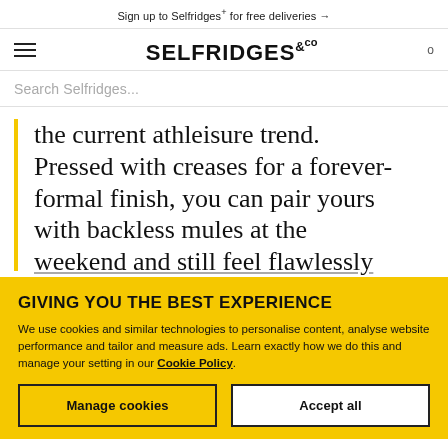Sign up to Selfridges+ for free deliveries →
[Figure (logo): Selfridges & Co logo with hamburger menu and cart icon]
Search Selfridges...
the current athleisure trend. Pressed with creases for a forever-formal finish, you can pair yours with backless mules at the weekend and still feel flawlessly
GIVING YOU THE BEST EXPERIENCE
We use cookies and similar technologies to personalise content, analyse website performance and tailor and measure ads. Learn exactly how we do this and manage your setting in our Cookie Policy.
Manage cookies
Accept all